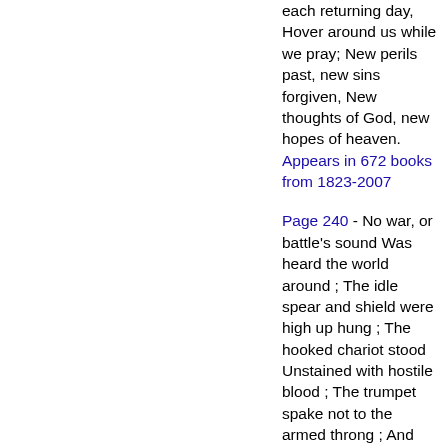each returning day, Hover around us while we pray; New perils past, new sins forgiven, New thoughts of God, new hopes of heaven.
Appears in 672 books from 1823-2007
Page 240 - No war, or battle's sound Was heard the world around ; The idle spear and shield were high up hung ; The hooked chariot stood Unstained with hostile blood ; The trumpet spake not to the armed throng ; And kings sat still with awful eye, As if they surely knew their sovran Lord was by.
Appears in 733 books